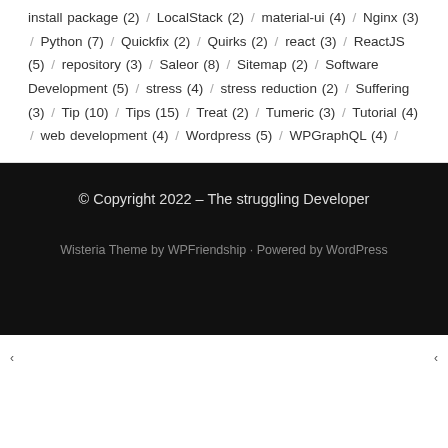install package (2) / LocalStack (2) / material-ui (4) / Nginx (3) / Python (7) / Quickfix (2) / Quirks (2) / react (3) / ReactJS (5) / repository (3) / Saleor (8) / Sitemap (2) / Software Development (5) / stress (4) / stress reduction (2) / Suffering (3) / Tip (10) / Tips (15) / Treat (2) / Tumeric (3) / Tutorial (4) / web development (4) / Wordpress (5) / WPGraphQL (4) /
© Copyright 2022 – The struggling Developer
Wisteria Theme by WPFriendship · Powered by WordPress